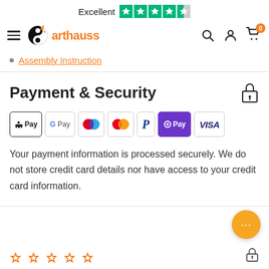Excellent [4.5 stars Trustpilot]
[Figure (logo): Arthauss logo with hamburger menu and navigation icons (search, account, cart with 0 badge)]
Assembly Instruction
Payment & Security
[Figure (infographic): Payment method badges: Apple Pay, Google Pay, Maestro, Mastercard, PayPal, OPay, Visa]
Your payment information is processed securely. We do not store credit card details nor have access to your credit card information.